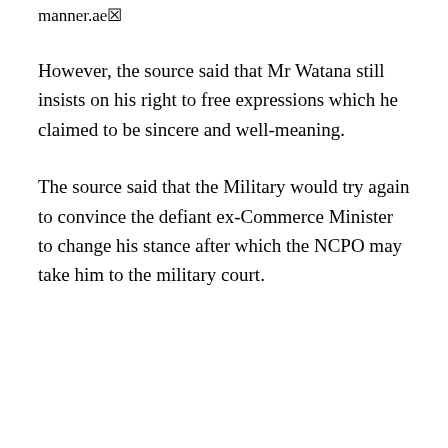manner.ae☒
However, the source said that Mr Watana still insists on his right to free expressions which he claimed to be sincere and well-meaning.
The source said that the Military would try again to convince the defiant ex-Commerce Minister to change his stance after which the NCPO may take him to the military court.